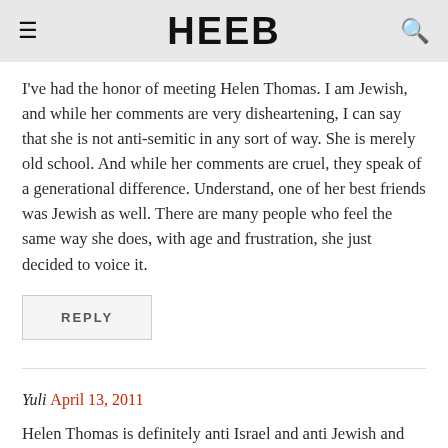HEEB
I've had the honor of meeting Helen Thomas. I am Jewish, and while her comments are very disheartening, I can say that she is not anti-semitic in any sort of way. She is merely old school. And while her comments are cruel, they speak of a generational difference. Understand, one of her best friends was Jewish as well. There are many people who feel the same way she does, with age and frustration, she just decided to voice it.
REPLY
Yuli April 13, 2011
Helen Thomas is definitely anti Israel and anti Jewish and anti Semitic and clearly does not care about the plight of the Members of our…